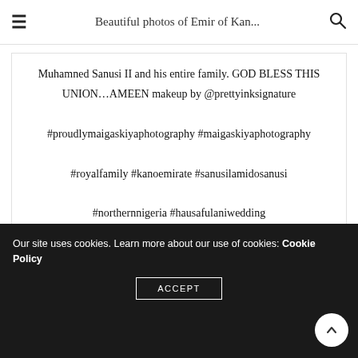Beautiful photos of Emir of Kan...
Muhamned Sanusi II and his entire family. GOD BLESS THIS UNION…AMEEN makeup by @prettyinksignature #proudlymaigaskiyaphotography #maigaskiyaphotography #royalfamily #kanoemirate #sanusilamidosanusi #northernnigeria #hausafulaniwedding
A photo posted by Maigaskiya Photography (@maigaskiya) on ...
Our site uses cookies. Learn more about our use of cookies: Cookie Policy
ACCEPT